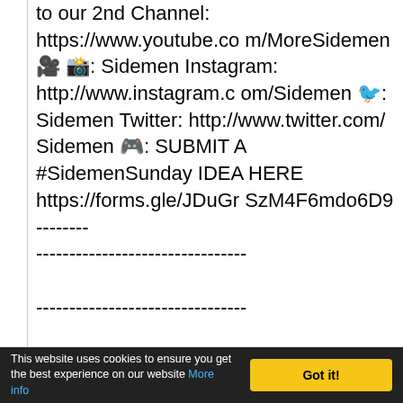to our 2nd Channel: https://www.youtube.com/MoreSidemen 🎥 📸: Sidemen Instagram: http://www.instagram.com/Sidemen 🐦: Sidemen Twitter: http://www.twitter.com/Sidemen 🎮: SUBMIT A #SidemenSunday IDEA HERE https://forms.gle/JDuGrSzM4F6mdo6D9 -------------------------------- -------------------------------- --------------------------------
This website uses cookies to ensure you get the best experience on our website More info